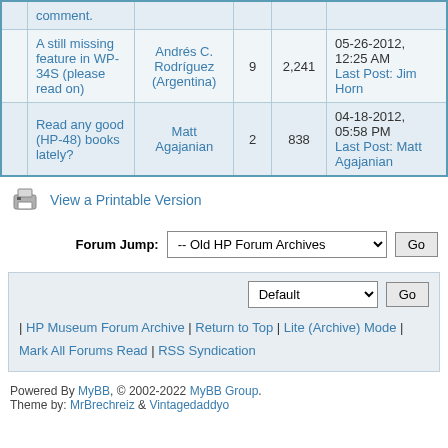|  | Topic | Author | Replies | Views | Last Post |
| --- | --- | --- | --- | --- | --- |
|  | A still missing feature in WP-34S (please read on) | Andrés C. Rodríguez (Argentina) | 9 | 2,241 | 05-26-2012, 12:25 AM
Last Post: Jim Horn |
|  | Read any good (HP-48) books lately? | Matt Agajanian | 2 | 838 | 04-18-2012, 05:58 PM
Last Post: Matt Agajanian |
View a Printable Version
Forum Jump: -- Old HP Forum Archives   Go
Default   Go
| HP Museum Forum Archive | Return to Top | Lite (Archive) Mode | Mark All Forums Read | RSS Syndication
Powered By MyBB, © 2002-2022 MyBB Group.
Theme by: MrBrechreiz & Vintagedaddyo